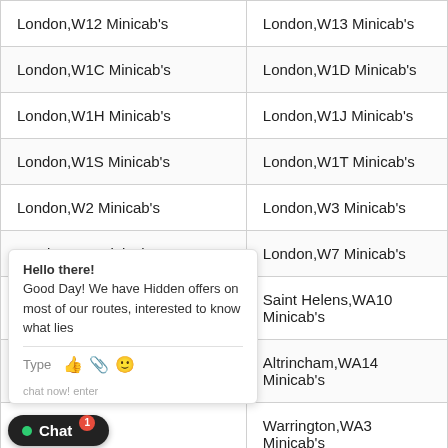| London,W12 Minicab's | London,W13 Minicab's |
| London,W1C Minicab's | London,W1D Minicab's |
| London,W1H Minicab's | London,W1J Minicab's |
| London,W1S Minicab's | London,W1T Minicab's |
| London,W2 Minicab's | London,W3 Minicab's |
| London,W6 Minicab's | London,W7 Minicab's |
| Warrington,WA1 Minicab's | Saint Helens,WA10 Minicab's |
| Lym... ab's | Altrincham,WA14 Minicab's |
| Wa... nicab's | Warrington,WA3 Minicab's |
| Fro... nicab's | Runcorn,WA7 Minicab's |
| Lo... ab's | London,WC1A Minicab's |
| London,WC1H Minicab's | London,WC1N Minicab's |